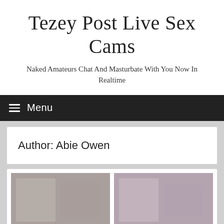Tezey Post Live Sex Cams
Naked Amateurs Chat And Masturbate With You Now In Realtime
Menu
Author: Abie Owen
[Figure (photo): Two thumbnail images of adult content, blurred/pixelated]
[Figure (photo): Second thumbnail image of adult content, blurred/pixelated]